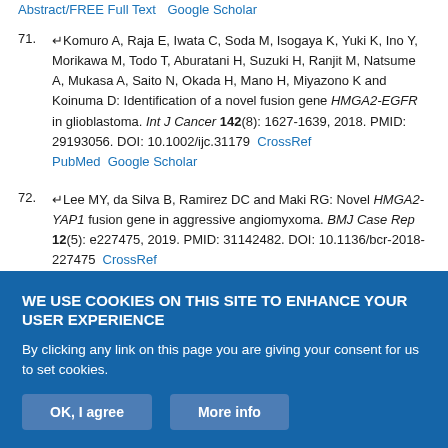Abstract/FREE Full Text  Google Scholar
71. Komuro A, Raja E, Iwata C, Soda M, Isogaya K, Yuki K, Ino Y, Morikawa M, Todo T, Aburatani H, Suzuki H, Ranjit M, Natsume A, Mukasa A, Saito N, Okada H, Mano H, Miyazono K and Koinuma D: Identification of a novel fusion gene HMGA2-EGFR in glioblastoma. Int J Cancer 142(8): 1627-1639, 2018. PMID: 29193056. DOI: 10.1002/ijc.31179  CrossRef  PubMed  Google Scholar
72. Lee MY, da Silva B, Ramirez DC and Maki RG: Novel HMGA2-YAP1 fusion gene in aggressive angiomyxoma. BMJ Case Rep 12(5): e227475, 2019. PMID: 31142482. DOI: 10.1136/bcr-2018-227475  CrossRef  PubMed  Google Scholar
73. Zheng Q and Zhao Y: The diverse biofunctions of LIM domain proteins:
WE USE COOKIES ON THIS SITE TO ENHANCE YOUR USER EXPERIENCE
By clicking any link on this page you are giving your consent for us to set cookies.
OK, I agree   More info